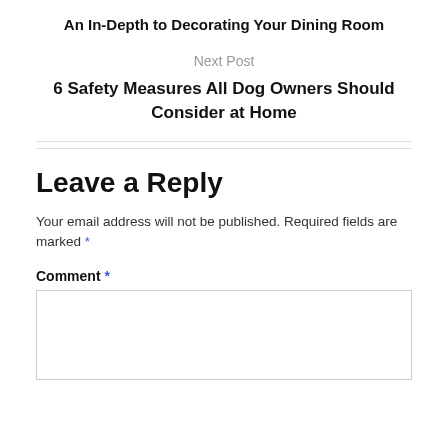An In-Depth to Decorating Your Dining Room
Next Post
6 Safety Measures All Dog Owners Should Consider at Home
Leave a Reply
Your email address will not be published. Required fields are marked *
Comment *